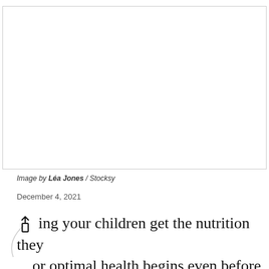[Figure (photo): Large photo placeholder — white/blank image area with border]
Image by Léa Jones / Stocksy
December 4, 2021
ing your children get the nutrition they or optimal health begins even before